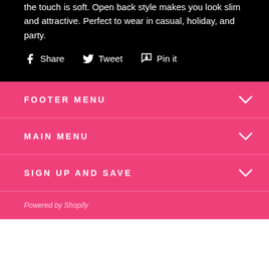the touch is soft. Open back style makes you look slim and attractive. Perfect to wear in casual, holiday, and party.
Share  Tweet  Pin it
FOOTER MENU
MAIN MENU
SIGN UP AND SAVE
Powered by Shopify